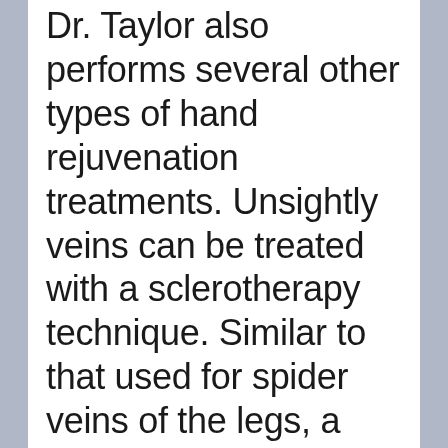Dr. Taylor also performs several other types of hand rejuvenation treatments. Unsightly veins can be treated with a sclerotherapy technique. Similar to that used for spider veins of the legs, a special sclerosing medication is injected into the vessels using a tiny micro needle. There is minimal pain. The vessels are destroyed, and they gradually disappear over time. For the most distal...